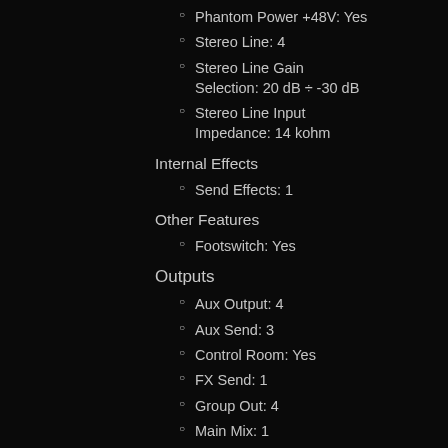Phantom Power +48V: Yes
Stereo Line: 4
Stereo Line Gain Selection: 20 dB ÷ -30 dB
Stereo Line Input Impedance: 14 kohm
Internal Effects
Send Effects: 1
Other Features
Footswitch: Yes
Outputs
Aux Output: 4
Aux Send: 3
Control Room: Yes
FX Send: 1
Group Out: 4
Main Mix: 1
Phones: 1
Outputs Specifications